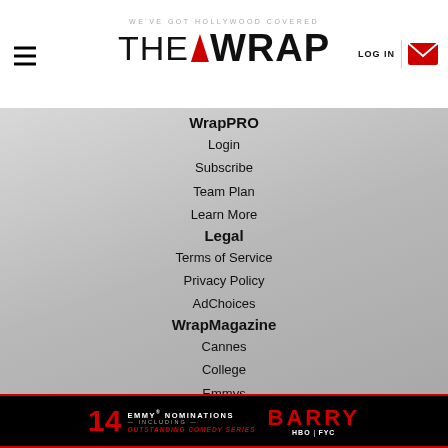WE'VE GOT HOLLYWOOD COVERED | THE WRAP | LOG IN
WrapPRO
Login
Subscribe
Team Plan
Learn More
Legal
Terms of Service
Privacy Policy
AdChoices
WrapMagazine
Cannes
College
Emmys
Oscars
Advertise With Us
[Figure (screenshot): Ad banner for Barry HBO FYC - 14 Emmy Nominations Including Outstanding Comedy Series]